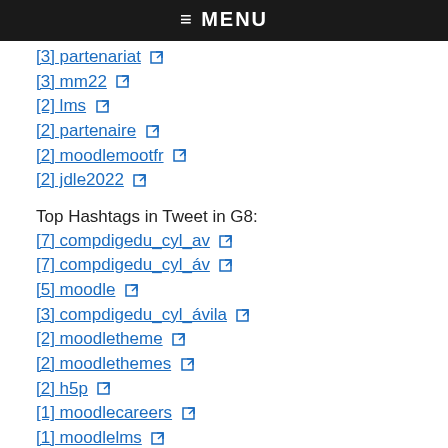≡ MENU
[3] partenariat
[3] mm22
[2] lms
[2] partenaire
[2] moodlemootfr
[2] jdle2022
Top Hashtags in Tweet in G8:
[7] compdigedu_cyl_av
[7] compdigedu_cyl_áv
[5] moodle
[3] compdigedu_cyl_ávila
[2] moodletheme
[2] moodlethemes
[2] h5p
[1] moodlecareers
[1] moodlelms
[1] googleclassroom
Top Hashtags in Tweet in G9:
[5] observatorioreformas
Top Hashtags in Tweet in G10:
[20] viviz
[15] 한국어